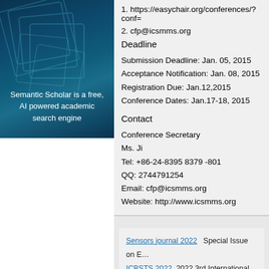[Figure (illustration): Semantic Scholar branding image with dark blue background, geometric square shapes, and white text reading 'Semantic Scholar is a free, AI powered academic search engine']
1. https://easychair.org/conferences/?conf=
2. cfp@icsmms.org
Deadline
Submission Deadline: Jan. 05, 2015
Acceptance Notification: Jan. 08, 2015
Registration Due: Jan.12,2015
Conference Dates: Jan.17-18, 2015
Contact
Conference Secretary
Ms. Ji
Tel: +86-24-8395 8379 -801
QQ: 2744791254
Email: cfp@icsmms.org
Website: http://www.icsmms.org
Sensors journal 2022   Special Issue on E…
ICBSTS 2022   2022 3rd International Con…
ACM MSIE 2023   ACM--2023 5th Internat…
RSEJ 2022   Renewable and Sustainable…